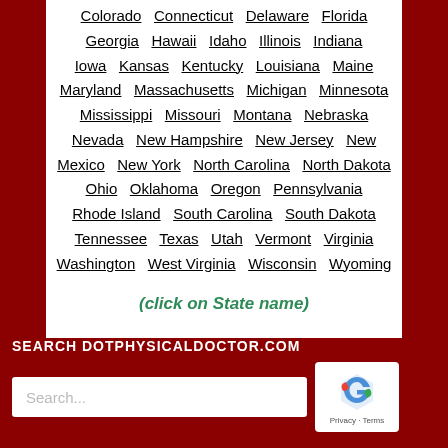Colorado  Connecticut  Delaware  Florida  Georgia  Hawaii  Idaho  Illinois  Indiana  Iowa  Kansas  Kentucky  Louisiana  Maine  Maryland  Massachusetts  Michigan  Minnesota  Mississippi  Missouri  Montana  Nebraska  Nevada  New Hampshire  New Jersey  New Mexico  New York  North Carolina  North Dakota  Ohio  Oklahoma  Oregon  Pennsylvania  Rhode Island  South Carolina  South Dakota  Tennessee  Texas  Utah  Vermont  Virginia  Washington  West Virginia  Wisconsin  Wyoming
(click on State name)
SEARCH DOTPHYSICALDOCTOR.COM
Search...